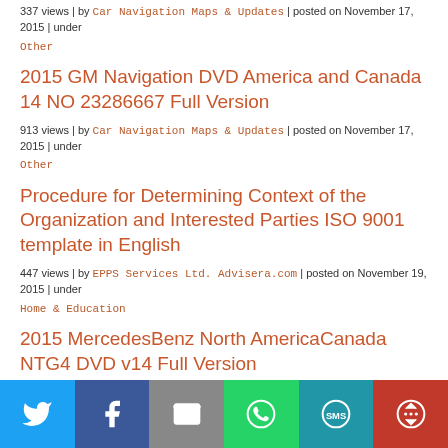337 views | by Car Navigation Maps & Updates | posted on November 17, 2015 | under
Other
2015 GM Navigation DVD America and Canada 14 NO 23286667 Full Version
913 views | by Car Navigation Maps & Updates | posted on November 17, 2015 | under
Other
Procedure for Determining Context of the Organization and Interested Parties ISO 9001 template in English
447 views | by EPPS Services Ltd. Advisera.com | posted on November 19, 2015 | under
Home & Education
2015 MercedesBenz North AmericaCanada NTG4 DVD v14 Full Version
295 views | by Car Navigation Maps & Updates | posted on November 17, 2015 | under
Other
[Figure (infographic): Social sharing bar with Twitter, Facebook, Email, WhatsApp, SMS, and More buttons]